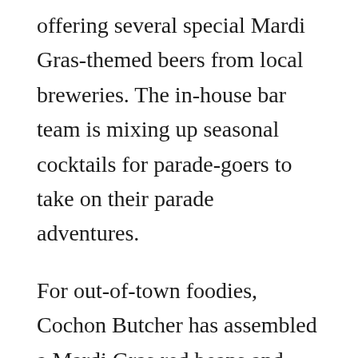offering several special Mardi Gras-themed beers from local breweries. The in-house bar team is mixing up seasonal cocktails for parade-goers to take on their parade adventures.
For out-of-town foodies, Cochon Butcher has assembled a Mardi Gras red beans and sausage meal kit for four. The package includes two quarts of red beans with smoked pork and sausage, one quart of cooked rice, one pound of smoked country sausage, four bacon pralines, and Mardi Gras beads. This limited-time meal is available on